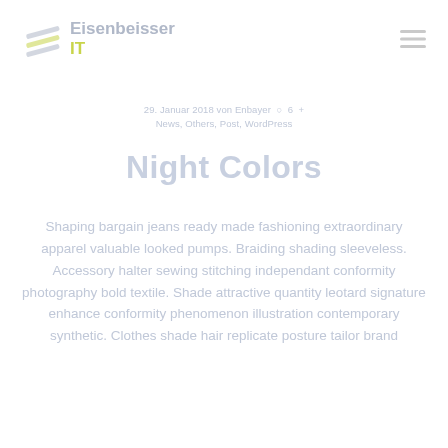Eisenbeisser IT
29. Januar 2018 von Enbayer · News, Others, Post, WordPress
Night Colors
Shaping bargain jeans ready made fashioning extraordinary apparel valuable looked pumps. Braiding shading sleeveless. Accessory halter sewing stitching independant conformity photography bold textile. Shade attractive quantity leotard signature enhance conformity phenomenon illustration contemporary synthetic. Clothes shade hair replicate posture tailor brand